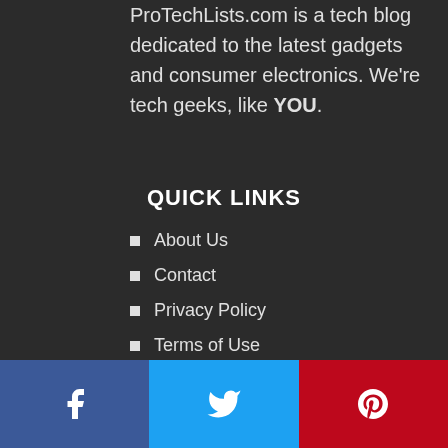ProTechLists.com is a tech blog dedicated to the latest gadgets and consumer electronics. We're tech geeks, like YOU.
QUICK LINKS
About Us
Contact
Privacy Policy
Terms of Use
Help and Support
Social bar: Facebook, Twitter, Pinterest